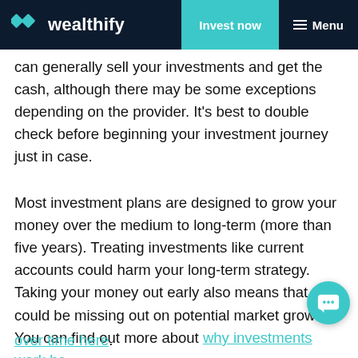wealthify | Invest now | Menu
can generally sell your investments and get the cash, although there may be some exceptions depending on the provider. It’s best to double check before beginning your investment journey just in case.
Most investment plans are designed to grow your money over the medium to long-term (more than five years). Treating investments like current accounts could harm your long-term strategy. Taking your money out early also means that you could be missing out on potential market growth. You can find out more about why investments work best over time here.